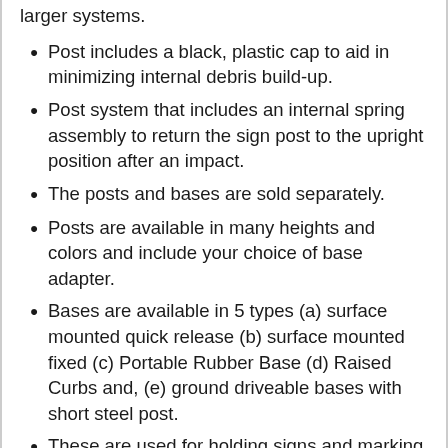larger systems.
Post includes a black, plastic cap to aid in minimizing internal debris build-up.
Post system that includes an internal spring assembly to return the sign post to the upright position after an impact.
The posts and bases are sold separately.
Posts are available in many heights and colors and include your choice of base adapter.
Bases are available in 5 types (a) surface mounted quick release (b) surface mounted fixed (c) Portable Rubber Base (d) Raised Curbs and, (e) ground driveable bases with short steel post.
These are used for holding signs and marking lane dividers in high traffic areas.